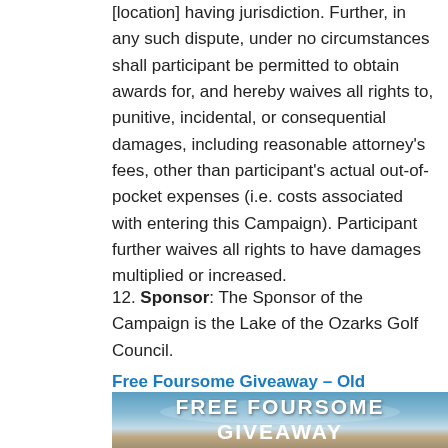[location] having jurisdiction. Further, in any such dispute, under no circumstances shall participant be permitted to obtain awards for, and hereby waives all rights to, punitive, incidental, or consequential damages, including reasonable attorney's fees, other than participant's actual out-of-pocket expenses (i.e. costs associated with entering this Campaign). Participant further waives all rights to have damages multiplied or increased.
12. Sponsor: The Sponsor of the Campaign is the Lake of the Ozarks Golf Council.
Free Foursome Giveaway – Old Kinderhook
[Figure (photo): Promotional banner image with text 'FREE FOURSOME GIVEAWAY' in large white bold letters over a landscape background with sky and water.]